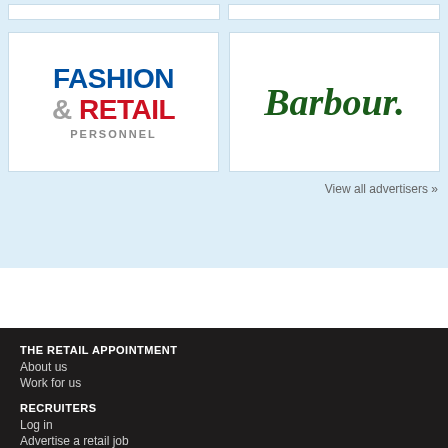[Figure (logo): Fashion & Retail Personnel logo — FASHION in dark blue bold, & RETAIL in red bold, PERSONNEL in grey small caps]
[Figure (logo): Barbour logo — italic serif dark green bold text reading 'Barbour.']
View all advertisers »
THE RETAIL APPOINTMENT
About us
Work for us
RECRUITERS
Log in
Advertise a retail job
Advertising terms and conditions